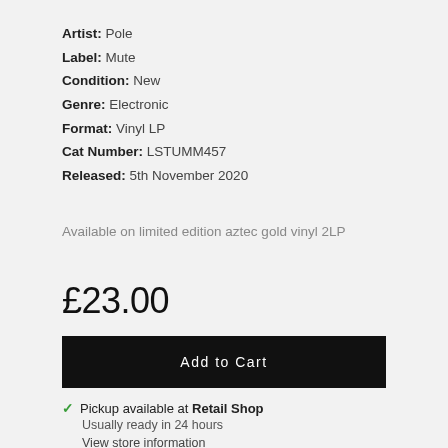Artist: Pole
Label: Mute
Condition: New
Genre: Electronic
Format: Vinyl LP
Cat Number: LSTUMM457
Released: 5th November 2020
Available on limited edition aztec gold vinyl 2LP
£23.00
Add to Cart
✓ Pickup available at Retail Shop
Usually ready in 24 hours
View store information